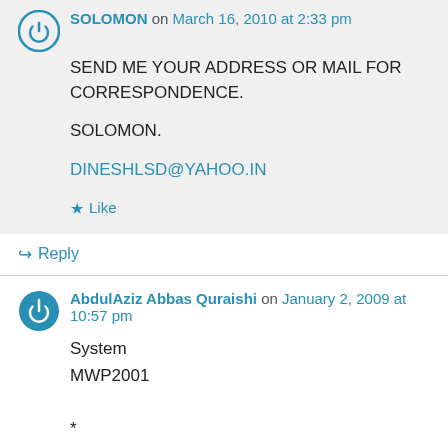SOLOMON on March 16, 2010 at 2:33 pm
SEND ME YOUR ADDRESS OR MAIL FOR CORRESPONDENCE.

SOLOMON.

DINESHLSD@YAHOO.IN
Like
Reply
AbdulAziz Abbas Quraishi on January 2, 2009 at 10:57 pm
System
MWP2001

*